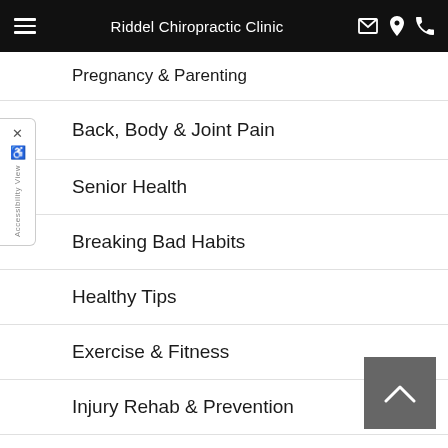Riddel Chiropractic Clinic
Pregnancy & Parenting
Back, Body & Joint Pain
Senior Health
Breaking Bad Habits
Healthy Tips
Exercise & Fitness
Injury Rehab & Prevention
Kid's Health